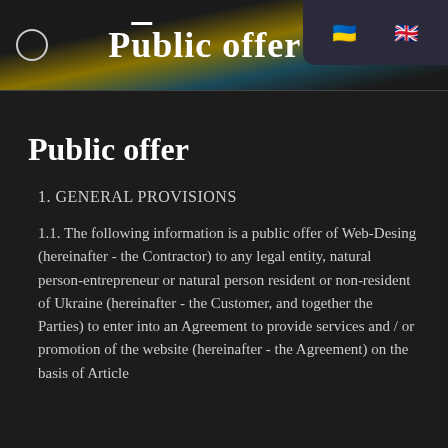Public offer
Public offer
1. GENERAL PROVISIONS
1.1. The following information is a public offer of Web-Desing (hereinafter - the Contractor) to any legal entity, natural person-entrepreneur or natural person resident or non-resident of Ukraine (hereinafter - the Customer, and together the Parties) to enter into an Agreement to provide services and / or promotion of the website (hereinafter - the Agreement) on the basis of Article